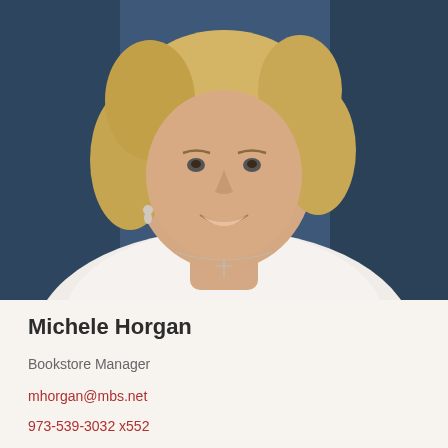[Figure (photo): Headshot of Michele Horgan, a woman with blonde hair, wearing a white top and a cross necklace, smiling, against a dark blue background.]
Michele Horgan
Bookstore Manager
mhorgan@mbs.net
973-539-3032 x552